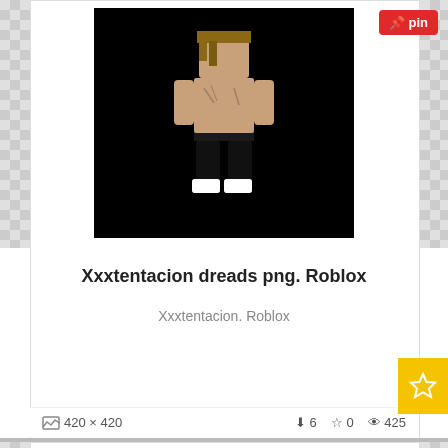[Figure (screenshot): Roblox character styled as Xxxtentacion with dreads, shirtless, on black background, with checkered transparency background surrounding it]
Xxxtentacion dreads png. Roblox
Xxxtentacion. Roblox
420 x 420   ↓6  ☆0  👁 425
[Figure (screenshot): Two sets of dreadlocks hair: golden/blonde dreads on the left and dark/black dreads on the right, on black background]
Pink dreads png. Popular and trending xxxtentacionhair